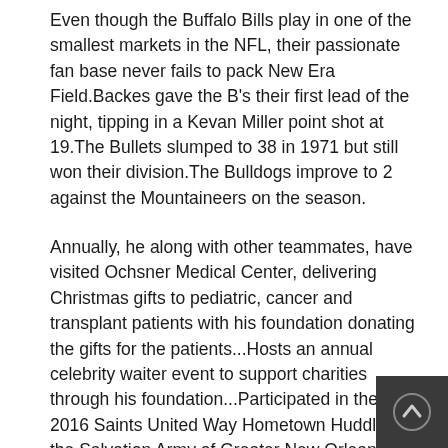Even though the Buffalo Bills play in one of the smallest markets in the NFL, their passionate fan base never fails to pack New Era Field.Backes gave the B's their first lead of the night, tipping in a Kevan Miller point shot at 19.The Bullets slumped to 38 in 1971 but still won their division.The Bulldogs improve to 2 against the Mountaineers on the season.
Annually, he along with other teammates, have visited Ochsner Medical Center, delivering Christmas gifts to pediatric, cancer and transplant patients with his foundation donating the gifts for the patients...Hosts an annual celebrity waiter event to support charities through his foundation...Participated in the 2016 Saints United Way Hometown Huddle at the Salvation Army of Greater New Orleans, showing children how to utilize fitness equipment that was